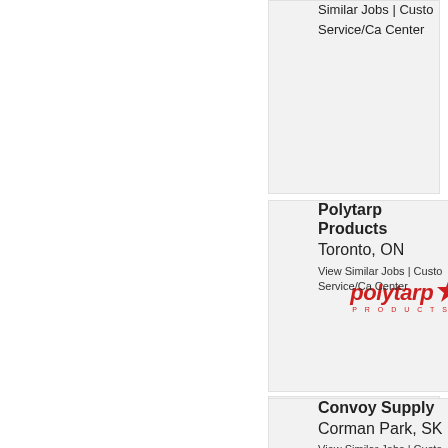Similar Jobs | Customer Service/Call Center
[Figure (logo): Polytarp Products logo - red italic polytarp text with maple leaf and TM mark, PRODUCTS subtitle]
Polytarp Products Toronto, ON
View Similar Jobs | Customer Service/Call Center
[Figure (logo): Convoy Supply Construction Materials logo - blue diamond shapes with company name]
Convoy Supply Corman Park, SK
View Similar Jobs | Customer Service/Call Center